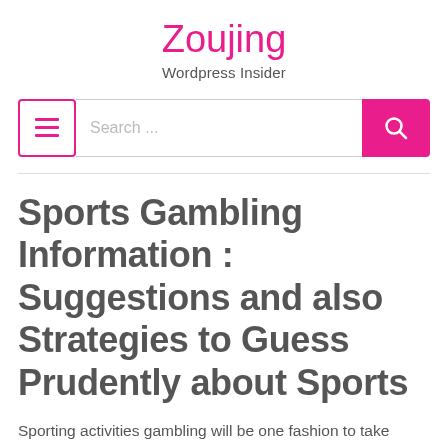Zoujing
Wordpress Insider
Sports Gambling Information : Suggestions and also Strategies to Guess Prudently about Sports
Sporting activities gambling will be one fashion to take pleasure in the video game and also help make more